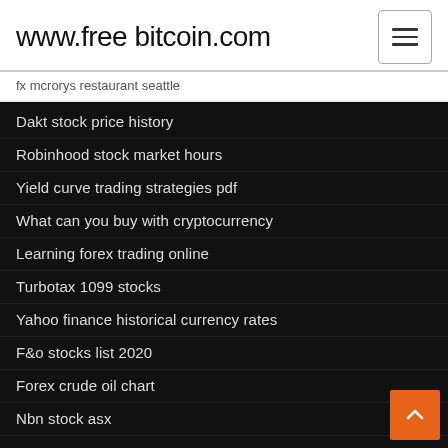www.free bitcoin.com
fx mcrorys restaurant seattle
Dakt stock price history
Robinhood stock market hours
Yield curve trading strategies pdf
What can you buy with cryptocurrency
Learning forex trading online
Turbotax 1099 stocks
Yahoo finance historical currency rates
F&o stocks list 2020
Forex crude oil chart
Nbn stock asx